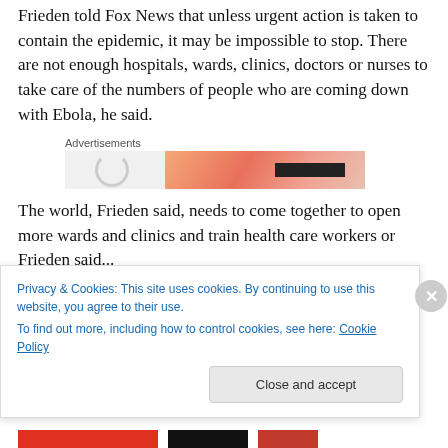Frieden told Fox News that unless urgent action is taken to contain the epidemic, it may be impossible to stop. There are not enough hospitals, wards, clinics, doctors or nurses to take care of the numbers of people who are coming down with Ebola, he said.
[Figure (other): Advertisements banner with loading spinner and colorful banner image with black bar]
The world, Frieden said, needs to come together to open more wards and clinics and train health care workers or Frieden said...
Privacy & Cookies: This site uses cookies. By continuing to use this website, you agree to their use.
To find out more, including how to control cookies, see here: Cookie Policy